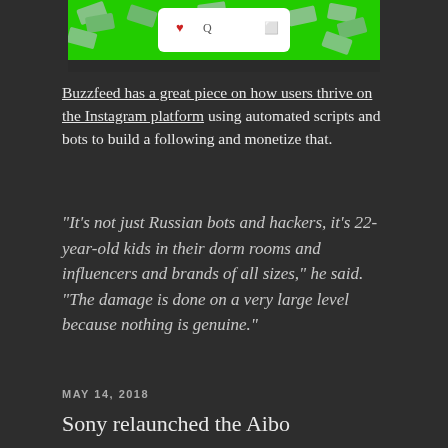[Figure (screenshot): Screenshot of an Instagram post with green background showing scattered dollar bill graphics and a card with heart/bookmark icons in the UI.]
Buzzfeed has a great piece on how users thrive on the Instagram platform using automated scripts and bots to build a following and monetize that.
“It’s not just Russian bots and hackers, it’s 22-year-old kids in their dorm rooms and influencers and brands of all sizes,” he said. “The damage is done on a very large level because nothing is genuine.”
MAY 14, 2018
Sony relaunched the Aibo